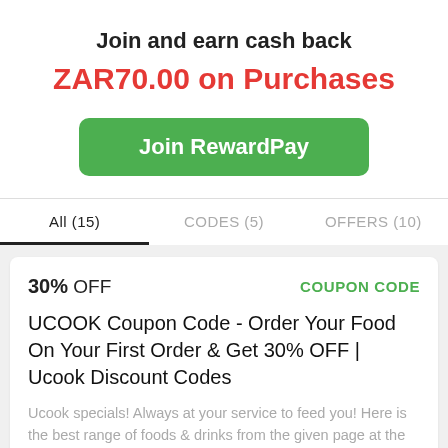Join and earn cash back
ZAR70.00 on Purchases
Join RewardPay
All (15)   CODES (5)   OFFERS (10)
30% OFF   COUPON CODE
UCOOK Coupon Code - Order Your Food On Your First Order & Get 30% OFF | Ucook Discount Codes
Ucook specials! Always at your service to feed you! Here is the best range of foods & drinks from the given page at the finest prices. Order your favorite food and get